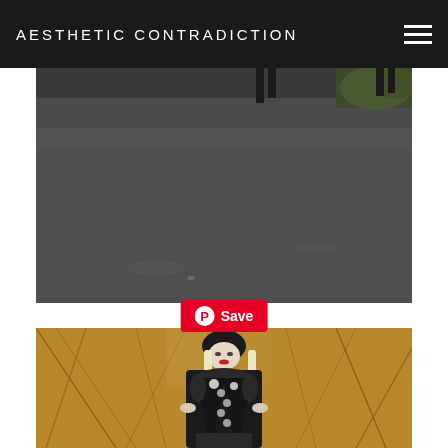AESTHETIC CONTRADICTION
[Figure (photo): Top portion of an outdoor photo showing dark asphalt road with two small dark figures (feet/legs) at top and greenery in the upper right corner. Dark, moody tones.]
[Figure (screenshot): Pinterest 'Save' button overlay with Pinterest circle logo on red background]
[Figure (photo): Fashion portrait of a blonde woman wearing a black beanie with pompom, black fur-trimmed coat with silver buttons, holding open the coat. Background shows bare golden-orange trees in winter. Dark, gothic-chic fashion style.]